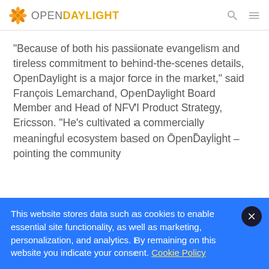OpenDaylight
“Because of both his passionate evangelism and tireless commitment to behind-the-scenes details, OpenDaylight is a major force in the market,” said François Lemarchand, OpenDaylight Board Member and Head of NFVI Product Strategy, Ericsson. “He’s cultivated a commercially meaningful ecosystem based on OpenDaylight – pointing the community
This website stores data such as cookies to enable essential site functionality, as well as marketing, personalization, and analytics. By remaining on this website you indicate your consent. Cookie Policy